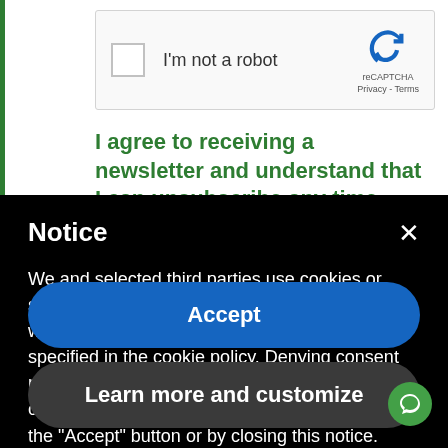[Figure (screenshot): reCAPTCHA widget with checkbox labeled 'I'm not a robot' and reCAPTCHA logo with Privacy - Terms links]
I agree to receiving a newsletter and understand that I can unsubscribe any time
Notice
We and selected third parties use cookies or similar technologies for technical purposes and, with your consent, for other purposes as specified in the cookie policy. Denying consent may make related features unavailable. You can consent to the use of such technologies by using the "Accept" button or by closing this notice.
Accept
Learn more and customize